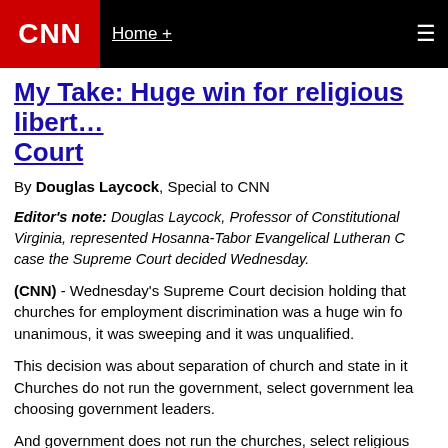CNN | Home +
My Take: Huge win for religious liberty … Court
By Douglas Laycock, Special to CNN
Editor's note: Douglas Laycock, Professor of Constitutional … Virginia, represented Hosanna-Tabor Evangelical Lutheran C… case the Supreme Court decided Wednesday.
(CNN) - Wednesday's Supreme Court decision holding that churches for employment discrimination was a huge win fo… unanimous, it was sweeping and it was unqualified.
This decision was about separation of church and state in i… Churches do not run the government, select government lea… choosing government leaders.
And government does not run the churches, select religious… choosing religious leaders. The Court unanimously reaffirme…